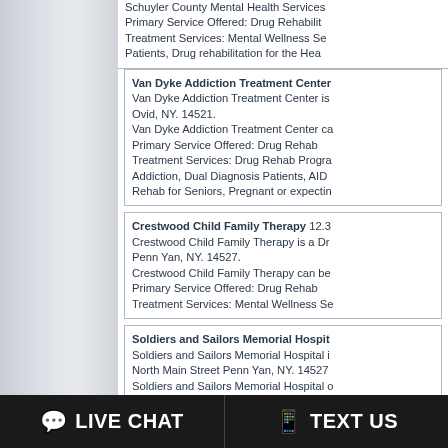Schuyler County Mental Health Services Primary Service Offered: Drug Rehabilitation Treatment Services: Mental Wellness Se Patients, Drug rehabilitation for the Hear
Van Dyke Addiction Treatment Center Van Dyke Addiction Treatment Center is Ovid, NY. 14521. Van Dyke Addiction Treatment Center ca Primary Service Offered: Drug Rehab Treatment Services: Drug Rehab Progra Addiction, Dual Diagnosis Patients, AIDS Rehab for Seniors, Pregnant or expectir
Crestwood Child Family Therapy 12.3 Crestwood Child Family Therapy is a Dr Penn Yan, NY. 14527. Crestwood Child Family Therapy can be Primary Service Offered: Drug Rehab Treatment Services: Mental Wellness Se
Soldiers and Sailors Memorial Hospit Soldiers and Sailors Memorial Hospital i North Main Street Penn Yan, NY. 14527 Soldiers and Sailors Memorial Hospital o Primary Service Offered: Drug Rehabilita Treatment Services: Mental Wellness Se
LIVE CHAT   TEXT US